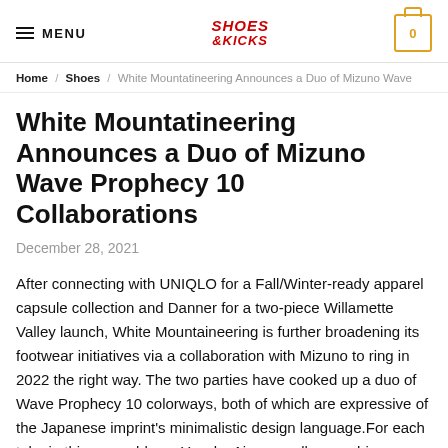MENU | SHOES & KICKS | 0
Home / Shoes / White Mountatineering Announces a Duo of Mizuno Wave
White Mountatineering Announces a Duo of Mizuno Wave Prophecy 10 Collaborations
December 28, 2021
After connecting with UNIQLO for a Fall/Winter-ready apparel capsule collection and Danner for a two-piece Willamette Valley launch, White Mountaineering is further broadening its footwear initiatives via a collaboration with Mizuno to ring in 2022 the right way. The two parties have cooked up a duo of Wave Prophecy 10 colorways, both of which are expressive of the Japanese imprint's minimalistic design language.For each take in this assemblage, Yosuke Aizawa calls upon his signature monotone and